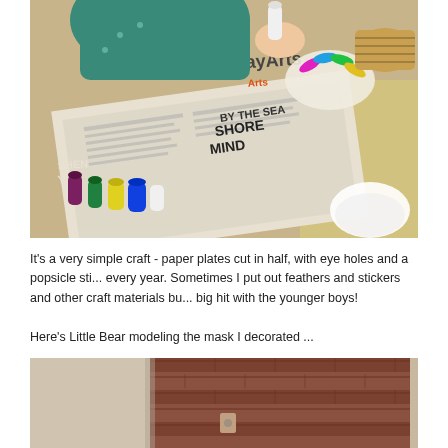[Figure (photo): Child in teal sweater doing a craft activity on a table covered with newspaper, with paint bottles, colorful feathers, and a paper plate mask visible. A newspaper with 'dayArts' and 'BY THE SEA / SHORE / MIND' text is spread on the table.]
It's a very simple craft - paper plates cut in half, with eye holes and a popsicle sti... every year. Sometimes I put out feathers and stickers and other craft materials bu... big hit with the younger boys!
Here's Little Bear modeling the mask I decorated ...
[Figure (photo): Bottom portion of a second photo showing a brick wall and partial indoor scene, partially cut off.]